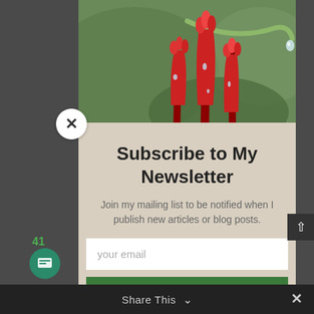[Figure (photo): Close-up macro photo of red tubular flowers with water droplets on a curved green stem against a blurred green background]
Subscribe to My Newsletter
Join my mailing list to be notified when I publish new articles or blog posts.
your email
Sign Up Now!
Share This